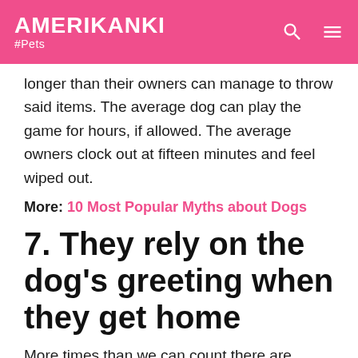AMERIKANKI #Pets
longer than their owners can manage to throw said items. The average dog can play the game for hours, if allowed. The average owners clock out at fifteen minutes and feel wiped out.
More: 10 Most Popular Myths about Dogs
7. They rely on the dog's greeting when they get home
More times than we can count there are stories of dogs remembering their owners after months and